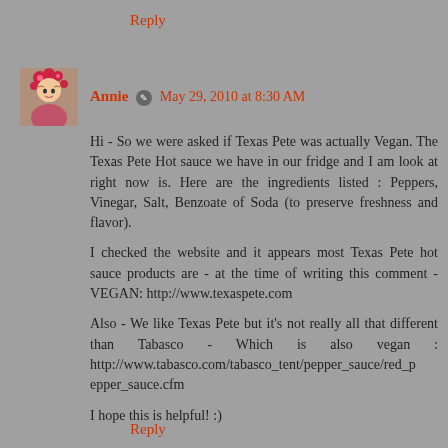Reply
Annie ✎ May 29, 2010 at 8:30 AM
Hi - So we were asked if Texas Pete was actually Vegan. The Texas Pete Hot sauce we have in our fridge and I am look at right now is. Here are the ingredients listed : Peppers, Vinegar, Salt, Benzoate of Soda (to preserve freshness and flavor).

I checked the website and it appears most Texas Pete hot sauce products are - at the time of writing this comment - VEGAN: http://www.texaspete.com

Also - We like Texas Pete but it's not really all that different than Tabasco - Which is also vegan : http://www.tabasco.com/tabasco_tent/pepper_sauce/red_pepper_sauce.cfm

I hope this is helpful! :)
Reply